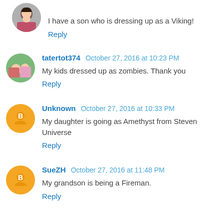I have a son who is dressing up as a Viking!
Reply
tatertot374 October 27, 2016 at 10:23 PM
My kids dressed up as zombies. Thank you
Reply
Unknown October 27, 2016 at 10:33 PM
My daughter is going as Amethyst from Steven Universe
Reply
SueZH October 27, 2016 at 11:48 PM
My grandson is being a Fireman.
Reply